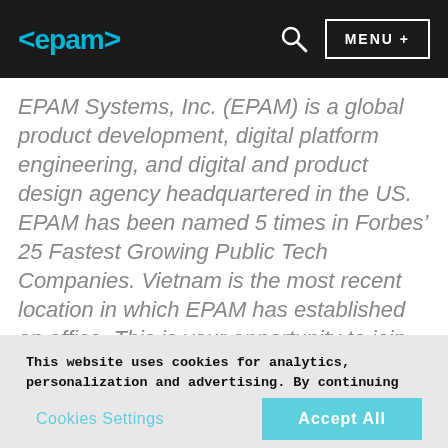<epam> [search icon] MENU +
EPAM Systems, Inc. (EPAM) is a global product development, digital platform engineering, and digital and product design agency headquartered in the US. EPAM has been named 5 times in Forbes’ 25 Fastest Growing Public Tech Companies. Vietnam is the most recent location in which EPAM has established an office. This is your opportunity to join an organization in start-up mode with plans to (at least) double in
This website uses cookies for analytics, personalization and advertising. By continuing to browse, you agree to our use of cookies. To learn more click Cookie Policy
Cookies Settings   Accept All